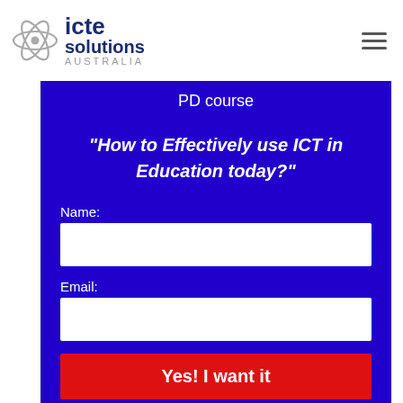icte solutions AUSTRALIA
PD course
"How to Effectively use ICT in Education today?"
Name:
Email:
Yes! I want it